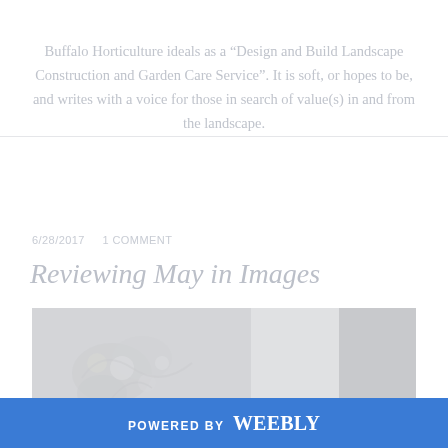Buffalo Horticulture ideals as a "Design and Build Landscape Construction and Garden Care Service". It is soft, or hopes to be, and writes with a voice for those in search of value(s) in and from the landscape.
6/28/2017   1 COMMENT
Reviewing May in Images
[Figure (photo): A faded/washed-out photograph showing floral imagery (white flowers/blossoms) on the left and lighter gray sections to the right, appearing as a collage or multi-panel image.]
POWERED BY weebly